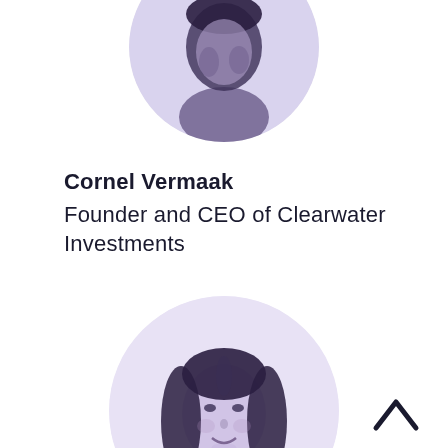[Figure (photo): Circular headshot photo of Cornel Vermaak, partially cropped at top of page, rendered in purple-tinted black and white]
Cornel Vermaak
Founder and CEO of Clearwater Investments
[Figure (photo): Circular headshot photo of a woman with long dark hair, smiling, rendered in purple-tinted black and white, partially cropped at bottom of page]